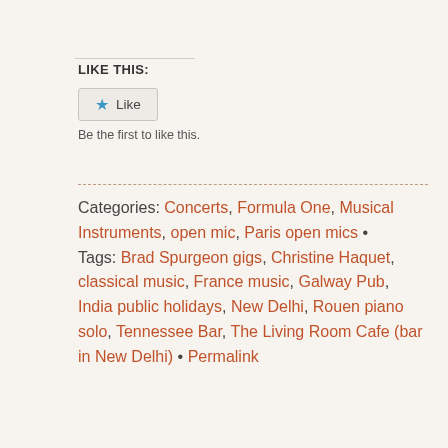LIKE THIS:
[Figure (other): Like button with blue star icon and text 'Like']
Be the first to like this.
Categories: Concerts, Formula One, Musical Instruments, open mic, Paris open mics • Tags: Brad Spurgeon gigs, Christine Haquet, classical music, France music, Galway Pub, India public holidays, New Delhi, Rouen piano solo, Tennessee Bar, The Living Room Cafe (bar in New Delhi) • Permalink